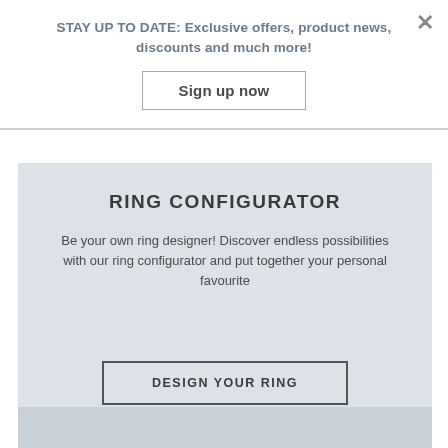STAY UP TO DATE: Exclusive offers, product news, discounts and much more!
Sign up now
RING CONFIGURATOR
Be your own ring designer! Discover endless possibilities with our ring configurator and put together your personal favourite
DESIGN YOUR RING